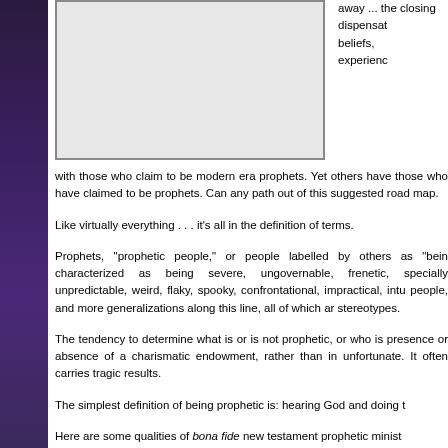[Figure (other): A rectangular image placeholder with a gray background and border, partially visible at the top left of the page]
away ... the closing dispensat beliefs, experienc
with those who claim to be modern era prophets. Yet others have those who have claimed to be prophets. Can any path out of this suggested road map.
Like virtually everything . . . it’s all in the definition of terms.
Prophets, “prophetic people,” or people labelled by others as “bein characterized as being severe, ungovernable, frenetic, specially unpredictable, weird, flaky, spooky, confrontational, impractical, intu people, and more generalizations along this line, all of which ar stereotypes.
The tendency to determine what is or is not prophetic, or who is presence or absence of a charismatic endowment, rather than in unfortunate. It often carries tragic results.
The simplest definition of being prophetic is: hearing God and doing t
Here are some qualities of bona fide new testament prophetic minist